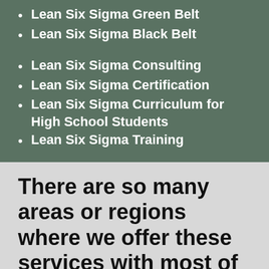Lean Six Sigma Green Belt
Lean Six Sigma Black Belt
Lean Six Sigma Consulting
Lean Six Sigma Certification
Lean Six Sigma Curriculum for High School Students
Lean Six Sigma Training
There are so many areas or regions where we offer these services with most of them being cities